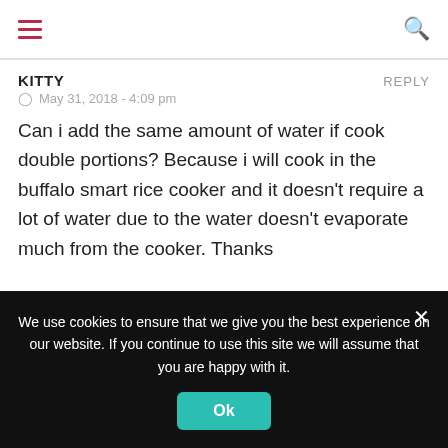hamburger menu | search icon
KITTY   REPLY
⊙ May 31, 2018 - 4:09 pm
Can i add the same amount of water if cook double portions? Because i will cook in the buffalo smart rice cooker and it doesn't require a lot of water due to the water doesn't evaporate much from the cooker. Thanks
We use cookies to ensure that we give you the best experience on our website. If you continue to use this site we will assume that you are happy with it.
Ok